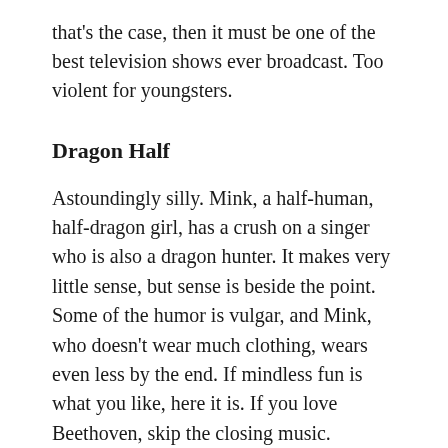that's the case, then it must be one of the best television shows ever broadcast. Too violent for youngsters.
Dragon Half
Astoundingly silly. Mink, a half-human, half-dragon girl, has a crush on a singer who is also a dragon hunter. It makes very little sense, but sense is beside the point. Some of the humor is vulgar, and Mink, who doesn't wear much clothing, wears even less by the end. If mindless fun is what you like, here it is. If you love Beethoven, skip the closing music.